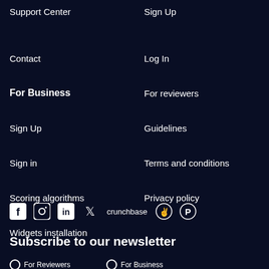Support Center
Sign Up
Contact
Log In
For Business
For reviewers
Sign Up
Guidelines
Sign in
Terms and conditions
Scoring algorithms
Privacy policy
Widgets installation
[Figure (other): Social media icons row: Facebook, Instagram, LinkedIn, Twitter, Crunchbase, and two other brand icons]
Subscribe to our newsletter
For Reviewers   For Business